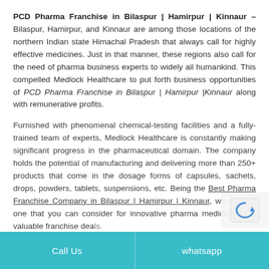PCD Pharma Franchise in Bilaspur | Hamirpur | Kinnaur – Bilaspur, Hamirpur, and Kinnaur are among those locations of the northern Indian state Himachal Pradesh that always call for highly effective medicines. Just in that manner, these regions also call for the need of pharma business experts to widely ail humankind. This compelled Medlock Healthcare to put forth business opportunities of PCD Pharma Franchise in Bilaspur | Hamirpur |Kinnaur along with remunerative profits.
Furnished with phenomenal chemical-testing facilities and a fully-trained team of experts, Medlock Healthcare is constantly making significant progress in the pharmaceutical domain. The company holds the potential of manufacturing and delivering more than 250+ products that come in the dosage forms of capsules, sachets, drops, powders, tablets, suspensions, etc. Being the Best Pharma Franchise Company in Bilaspur | Hamirpur | Kinnaur, we are the one that you can consider for innovative pharma medicines and valuable franchise deals.
Call Us   whatsapp